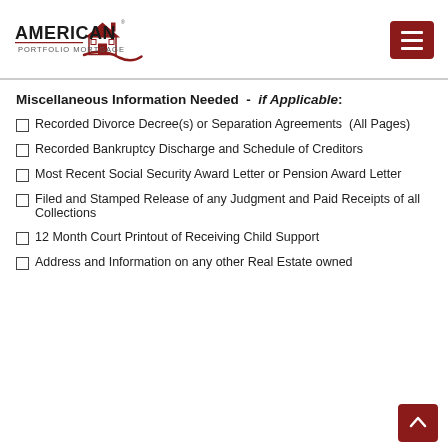American Portfolio Mortgage
Miscellaneous Information Needed  -  if Applicable:
Recorded Divorce Decree(s) or Separation Agreements  (All Pages)
Recorded Bankruptcy Discharge and Schedule of Creditors
Most Recent Social Security Award Letter or Pension Award Letter
Filed and Stamped Release of any Judgment and Paid Receipts of all Collections
12 Month Court Printout of Receiving Child Support
Address and Information on any other Real Estate owned